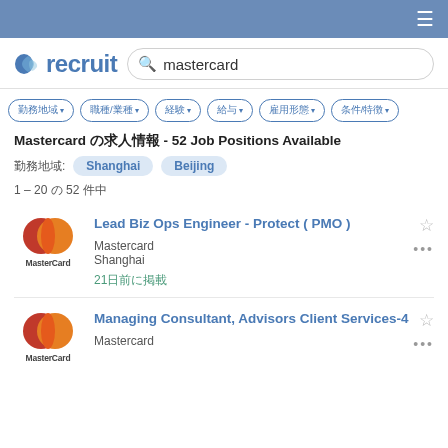≡
[Figure (logo): recruit logo with leaf/circle icon]
mastercard (search query)
Filter buttons: 勤務地域 ▾, 職種/業種 ▾, 経験 ▾, 給与 ▾, 雇用形態 ▾, 条件/特徴 ▾
Mastercard の求人情報 - 52 Job Positions Available
勤務地域: Shanghai  Beijing
1 – 20 の 52 件中
[Figure (logo): MasterCard logo - red and orange overlapping circles]
Lead Biz Ops Engineer - Protect ( PMO )
Mastercard
Shanghai
21日前に掲載
[Figure (logo): MasterCard logo - red and orange overlapping circles]
Managing Consultant, Advisors Client Services-4
Mastercard